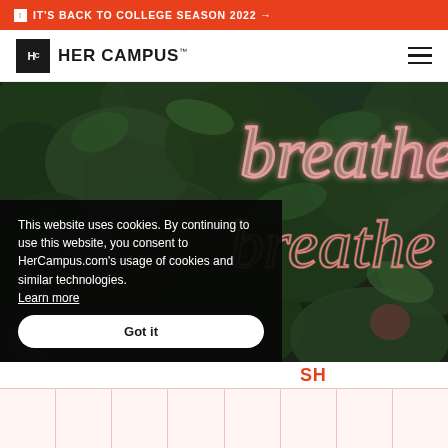IT'S BACK TO COLLEGE SEASON 2022 →
HER CAMPUS™
[Figure (photo): Dark background with lush green plants/foliage, with a pink neon sign reading 'breathe' in cursive script]
This website uses cookies. By continuing to use this website, you consent to HerCampus.com's usage of cookies and similar technologies. Learn more
Got it
SH